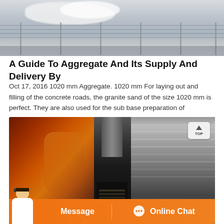[Figure (photo): Aerial or elevated view of aggregate/concrete materials processing facility with metal grid fence structure]
A Guide To Aggregate And Its Supply And Delivery By
Oct 17, 2016 1020 mm Aggregate. 1020 mm For laying out and filling of the concrete roads, the granite sand of the size 1020 mm is perfect. They are also used for the sub base preparation of
[Figure (photo): Close-up of industrial jaw crusher machine showing two large jaw plates (red/orange and ribbed metal) converging into a dark crushing chamber, with a TOP navigation button visible in upper right corner and an orange chat bar at bottom with Message and Online Chat buttons]